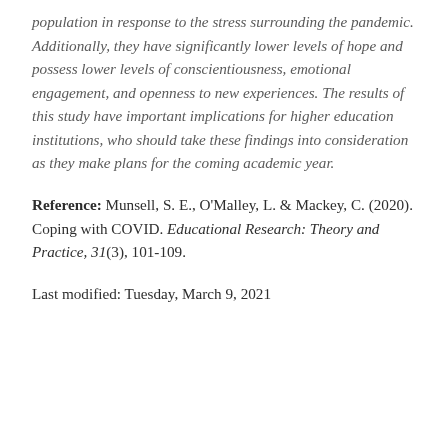population in response to the stress surrounding the pandemic. Additionally, they have significantly lower levels of hope and possess lower levels of conscientiousness, emotional engagement, and openness to new experiences. The results of this study have important implications for higher education institutions, who should take these findings into consideration as they make plans for the coming academic year.
Reference: Munsell, S. E., O'Malley, L. & Mackey, C. (2020). Coping with COVID. Educational Research: Theory and Practice, 31(3), 101-109.
Last modified: Tuesday, March 9, 2021